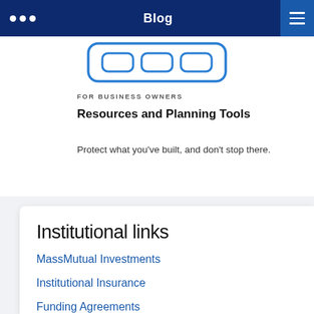Blog
[Figure (illustration): Rounded rectangle icon with three smaller rounded rectangles inside, outlined in blue on white background]
FOR BUSINESS OWNERS
Resources and Planning Tools
Protect what you've built, and don't stop there.
Institutional links
MassMutual Investments
Institutional Insurance
Funding Agreements